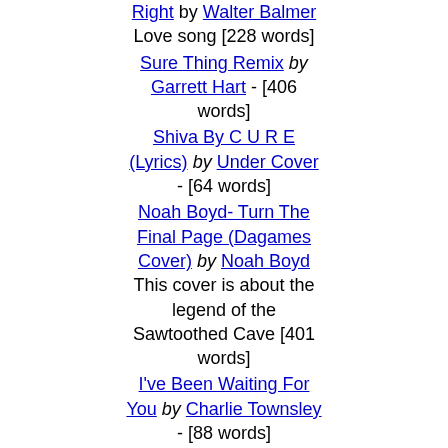Love song [228 words]
Sure Thing Remix by Garrett Hart - [406 words]
Shiva By C U R E (Lyrics) by Under Cover - [64 words]
Noah Boyd- Turn The Final Page (Dagames Cover) by Noah Boyd This cover is about the legend of the Sawtoothed Cave [401 words]
I've Been Waiting For You by Charlie Townsley - [88 words]
I Just Couldn't Turn Away by Charlie Townsley - [95 words]
Habit Of This by Lexie J Kelly This is one if my most recent works, so I hope you like it. My style of music has changed and so ... [226 words]
Don't Cry For Me ( When I'm Gone ) by Charlie Townsley - [105 words]